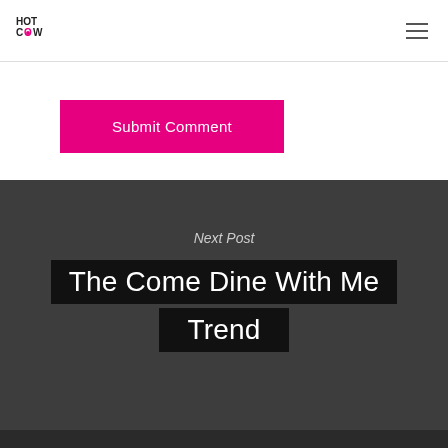Hot Cow logo and navigation
Submit Comment
Next Post
The Come Dine With Me Trend